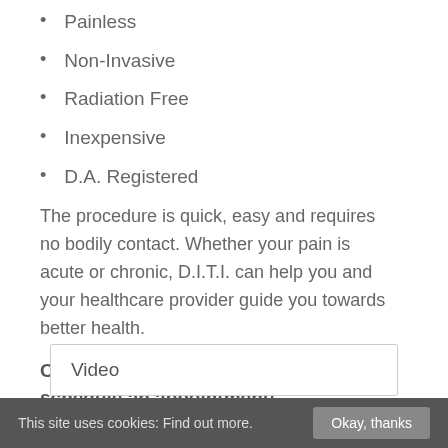Painless
Non-Invasive
Radiation Free
Inexpensive
D.A. Registered
The procedure is quick, easy and requires no bodily contact. Whether your pain is acute or chronic, D.I.T.I. can help you and your healthcare provider guide you towards better health.
Contact us today to learn more or schedule an appointment!
Video
This site uses cookies: Find out more.